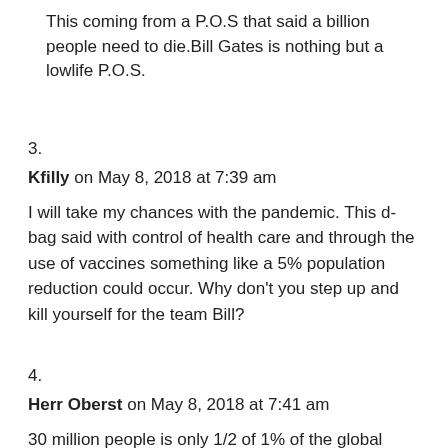This coming from a P.O.S that said a billion people need to die.Bill Gates is nothing but a lowlife P.O.S.
3.
Kfilly on May 8, 2018 at 7:39 am
I will take my chances with the pandemic. This d-bag said with control of health care and through the use of vaccines something like a 5% population reduction could occur. Why don't you step up and kill yourself for the team Bill?
4.
Herr Oberst on May 8, 2018 at 7:41 am
30 million people is only 1/2 of 1% of the global population, wouldn't even register as even a minor depopulation event. 3 Billion people, now that would